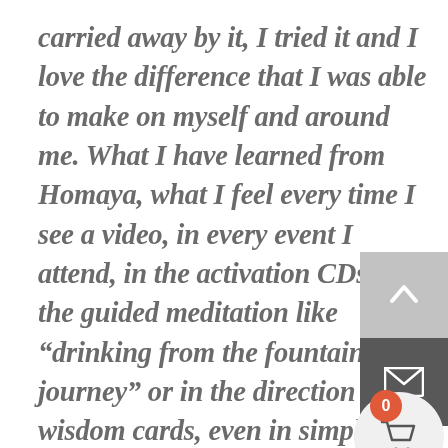carried away by it, I tried it and I love the difference that I was able to make on myself and around me. What I have learned from Homaya, what I feel every time I see a video, in every event I attend, in the activation CDs of the guided meditation like “drinking from the fountain, soul journey” or in the direction wisdom cards, even in simple flyers, it goes beyond what I can express in words, because the excitement, the joy and the feeling of “yes, yes its this!”, that I feel inside me is such that I never felt like this,